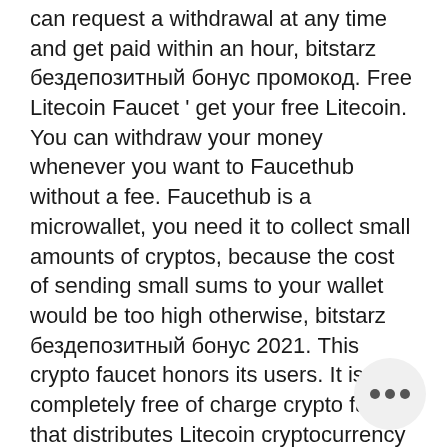can request a withdrawal at any time and get paid within an hour, bitstarz бездепозитный бонус промокод. Free Litecoin Faucet ' get your free Litecoin. You can withdraw your money whenever you want to Faucethub without a fee. Faucethub is a microwallet, you need it to collect small amounts of cryptos, because the cost of sending small sums to your wallet would be too high otherwise, bitstarz бездепозитный бонус 2021. This crypto faucet honors its users. It is completely free of charge crypto faucet that distributes Litecoin cryptocurrency every hour at the currency exchange rate at the time of circulation and allows users to earn free Litecoin every 5 minutes, bitstarz бездепозитный бонус 20 tours gratuits. Bonus Bitcoin ' bitcoin faucet paying out up to 5,000 Satoshi every minutes. Bonus Bitcoin is a faucet for